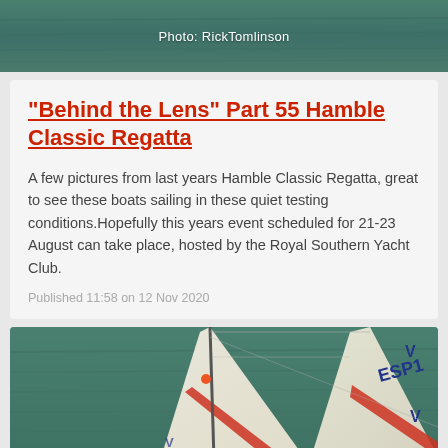[Figure (photo): Aerial/overhead photo of sailboats on water, teal-green sea. Photo credit: RickTomlinson displayed in white text overlay.]
Photo: RickTomlinson
"Behind the Lens" Part 55 Hamble Classic Regatta
A few pictures from last years Hamble Classic Regatta, great to see these boats sailing in these quiet testing conditions.Hopefully this years event scheduled for 21-23 August can take place, hosted by the Royal Southern Yacht Club.
Published 11:58 on 12 Nov 2020
[Figure (photo): Close-up photo of sailboat sails on green-blue water. Sail marked with ESP1 and chevron V markings in blue, with red/orange stripes on the sail.]